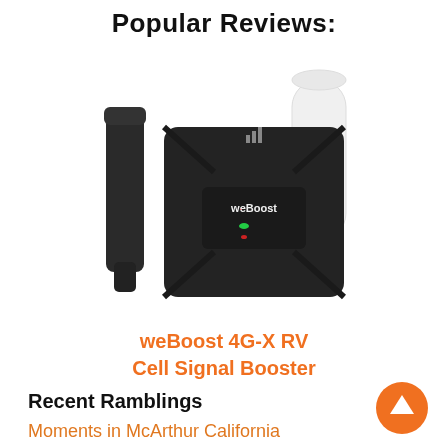Popular Reviews:
[Figure (photo): weBoost 4G-X RV Cell Signal Booster product photo showing a black signal booster unit with mounting bracket and a white cylindrical antenna]
weBoost 4G-X RV Cell Signal Booster
Recent Ramblings
Moments in McArthur California